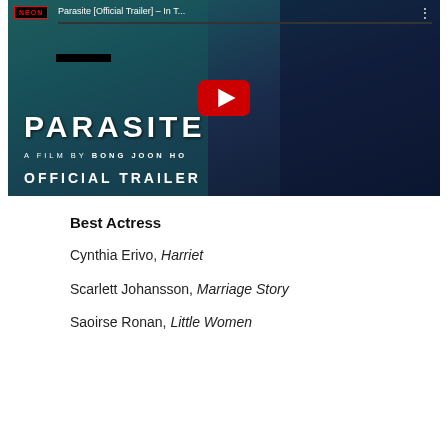[Figure (screenshot): YouTube video thumbnail for 'Parasite [Official Trailer] – In T...' showing the NEON logo, two people, and a YouTube play button overlay with PARASITE A FILM BY BONG JOON HO OFFICIAL TRAILER text]
Best Actress
Cynthia Erivo, Harriet
Scarlett Johansson, Marriage Story
Saoirse Ronan, Little Women